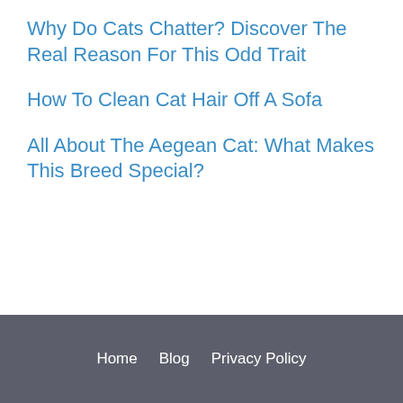Why Do Cats Chatter? Discover The Real Reason For This Odd Trait
How To Clean Cat Hair Off A Sofa
All About The Aegean Cat: What Makes This Breed Special?
Home   Blog   Privacy Policy